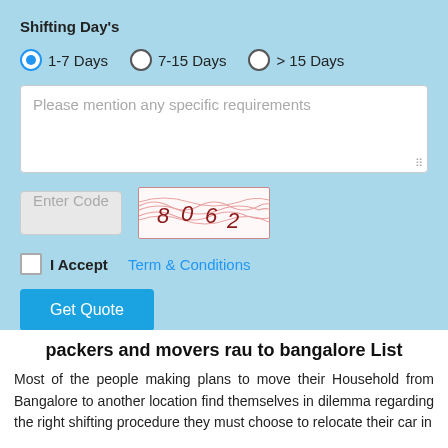Shifting Day's
1-7 Days (selected), 7-15 Days, > 15 Days
Please mention any specific requirements
Enter Code
[Figure (other): CAPTCHA image showing digits 8062 with wavy red line pattern on white background]
I Accept Term & Conditions
Get Quote
packers and movers rau to bangalore List
Most of the people making plans to move their Household from Bangalore to another location find themselves in dilemma regarding the right shifting procedure they must choose to relocate their car in